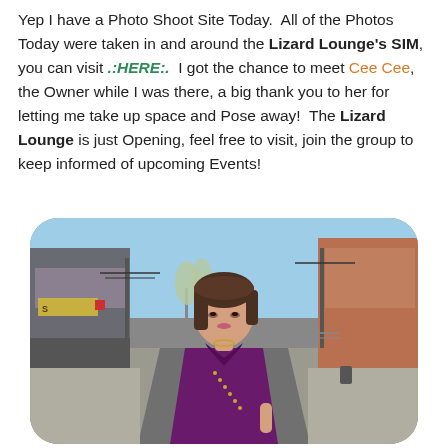Yep I have a Photo Shoot Site Today.  All of the Photos Today were taken in and around the Lizard Lounge's SIM, you can visit .:HERE:.  I got the chance to meet Cee Cee, the Owner while I was there, a big thank you to her for letting me take up space and Pose away!  The Lizard Lounge is just Opening, feel free to visit, join the group to keep informed of upcoming Events!
[Figure (photo): A virtual world (Second Life) screenshot showing a female avatar with a short brown bob hairstyle wearing a purple studded jacket, standing on a city street with buildings, power lines, and trees in the background.]